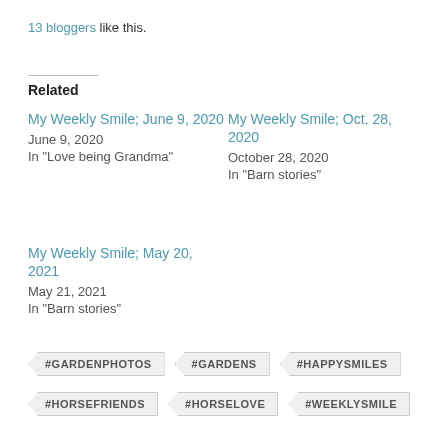13 bloggers like this.
Related
My Weekly Smile; June 9, 2020
June 9, 2020
In "Love being Grandma"
My Weekly Smile; Oct. 28, 2020
October 28, 2020
In "Barn stories"
My Weekly Smile; May 20, 2021
May 21, 2021
In "Barn stories"
#GARDENPHOTOS
#GARDENS
#HAPPYSMILES
#HORSEFRIENDS
#HORSELOVE
#WEEKLYSMILE